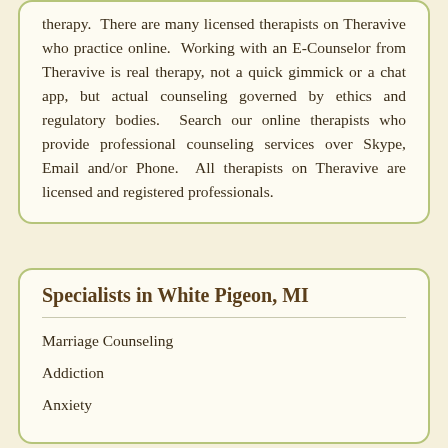therapy. There are many licensed therapists on Theravive who practice online. Working with an E-Counselor from Theravive is real therapy, not a quick gimmick or a chat app, but actual counseling governed by ethics and regulatory bodies. Search our online therapists who provide professional counseling services over Skype, Email and/or Phone. All therapists on Theravive are licensed and registered professionals.
Specialists in White Pigeon, MI
Marriage Counseling
Addiction
Anxiety